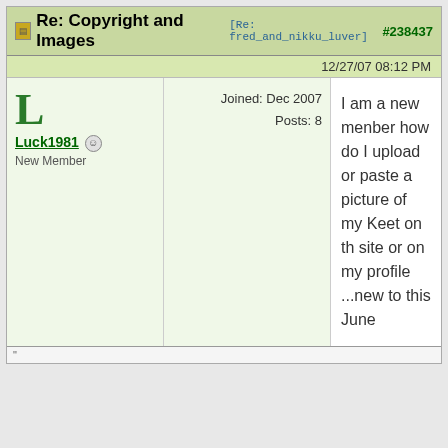Re: Copyright and Images [Re: fred_and_nikku_luver] #238437
12/27/07 08:12 PM
Luck1981
New Member
Joined: Dec 2007
Posts: 8
I am a new menber how do I upload or paste a picture of my Keet on th site or on my profile ...new to this
June